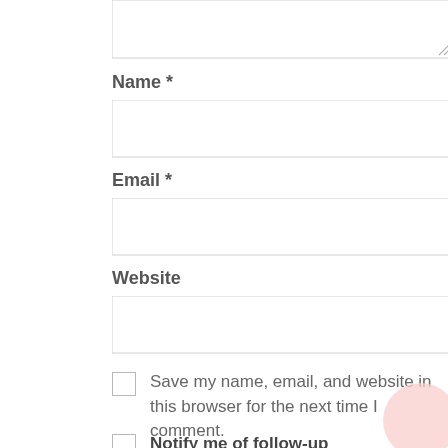[Figure (other): Partially visible textarea input with resize handle at bottom-right corner]
Name *
[Figure (other): Text input field for Name]
Email *
[Figure (other): Text input field for Email]
Website
[Figure (other): Text input field for Website]
Save my name, email, and website in this browser for the next time I comment.
Notify me of follow-up comments by email.